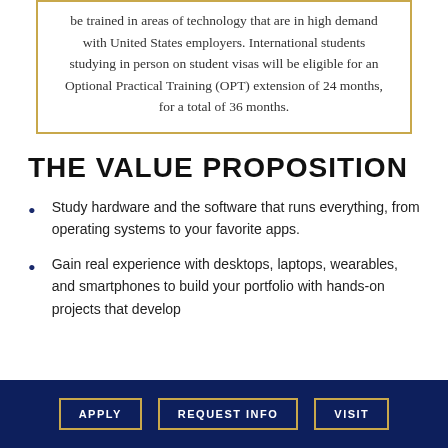be trained in areas of technology that are in high demand with United States employers. International students studying in person on student visas will be eligible for an Optional Practical Training (OPT) extension of 24 months, for a total of 36 months.
THE VALUE PROPOSITION
Study hardware and the software that runs everything, from operating systems to your favorite apps.
Gain real experience with desktops, laptops, wearables, and smartphones to build your portfolio with hands-on projects that develop
APPLY   REQUEST INFO   VISIT